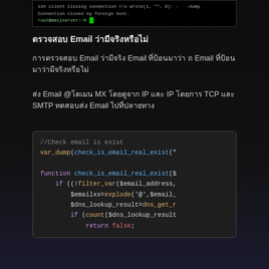[Figure (screenshot): Terminal window showing SSH connection closing and root@mailserver prompt]
ตรวจสอบ Emailว่ามีจริงหรือไม่
การตรวจสอบ Email ว่ามีจริง Email ที่ป้อนมาว่า ถ Emailที่ป้อนมาว่ามีจริงหรือไม่
ส่ง Email @โดเมน MXโดยดูจาก IPและ IP โดยการ TCP และ SMTP ทดสอบส่ง Email ไปที่ปลายทาง
[Figure (screenshot): PHP code block showing check_is_email_real_exist function with filter_var, explode, dns_get_record calls and return false statement]